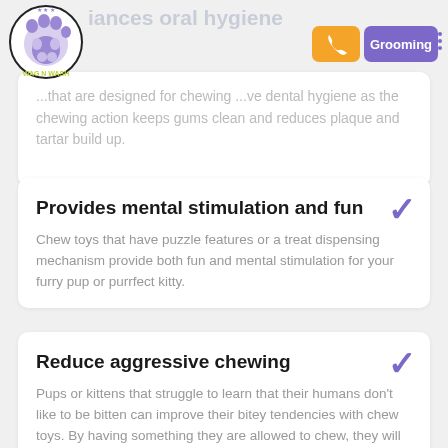Wag N Wash — oral hygiene — Grooming
...that are designed for chewing ...ve dental hygiene as the chewing action keeps gums clean and reduces plaque and tartar build up.
Provides mental stimulation and fun
Chew toys that have puzzle features or a treat dispensing mechanism provide both fun and mental stimulation for your furry pup or purrfect kitty.
Reduce aggressive chewing
Pups or kittens that struggle to learn that their humans don't like to be bitten can improve their bitey tendencies with chew toys. By having something they are allowed to chew, they will be less likely to chew your shoes, furniture, homework, or hands.